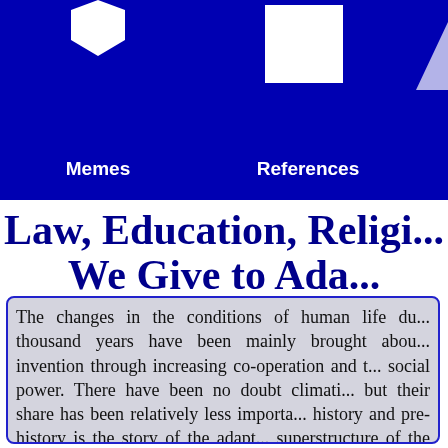[Figure (screenshot): Navigation bar with dark blue background containing icons (hexagon for Memes, square for References, triangle for Triples, and partially visible fourth item labeled Schu) with white geometric shapes above each label]
Law, Education, Religi... We Give to Ada...
The changes in the conditions of human life du... thousand years have been mainly brought abou... invention through increasing co-operation and t... social power. There have been no doubt climati... but their share has been relatively less importa... history and pre-history is the story of the adapt... superstructure of the animal man to the novel p... enterprise and inventiveness have been continu... religion, education, are from the ecological poi... the cardinal aspects of this process of adaptati... growing and spreading societies was told a sto...